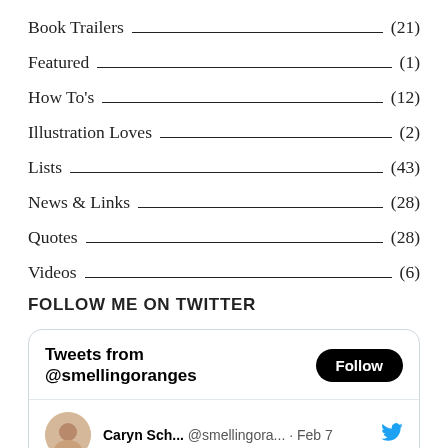Book Trailers (21)
Featured (1)
How To's (12)
Illustration Loves (2)
Lists (43)
News & Links (28)
Quotes (28)
Videos (6)
FOLLOW ME ON TWITTER
Tweets from @smellingoranges
Follow
Caryn Sch... @smellingora... · Feb 7